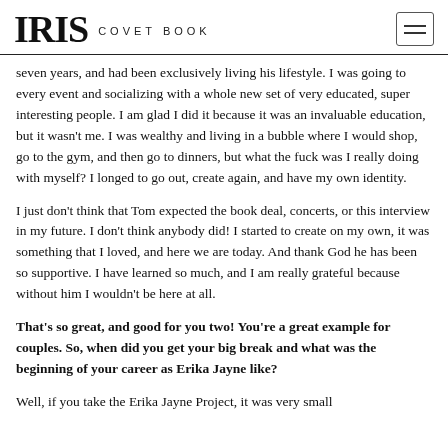IRIS COVET BOOK
seven years, and had been exclusively living his lifestyle. I was going to every event and socializing with a whole new set of very educated, super interesting people. I am glad I did it because it was an invaluable education, but it wasn't me. I was wealthy and living in a bubble where I would shop, go to the gym, and then go to dinners, but what the fuck was I really doing with myself? I longed to go out, create again, and have my own identity.
I just don't think that Tom expected the book deal, concerts, or this interview in my future. I don't think anybody did! I started to create on my own, it was something that I loved, and here we are today. And thank God he has been so supportive. I have learned so much, and I am really grateful because without him I wouldn't be here at all.
That's so great, and good for you two! You're a great example for couples. So, when did you get your big break and what was the beginning of your career as Erika Jayne like?
Well, if you take the Erika Jayne Project, it was very small